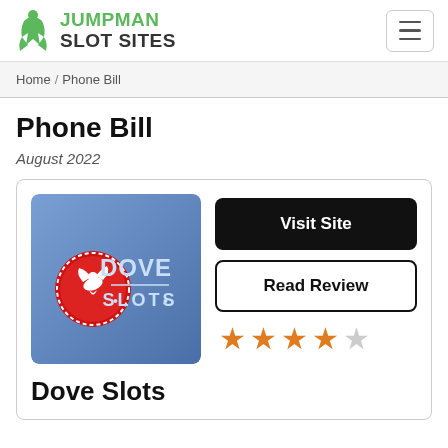JUMPMAN SLOT SITES
Home / Phone Bill
Phone Bill
August 2022
[Figure (logo): Dove Slots logo — blue background with red circular badge showing a white dove, and 'DOVE SLOTS' text in light blue]
Visit Site
Read Review
4 out of 5 stars
Dove Slots